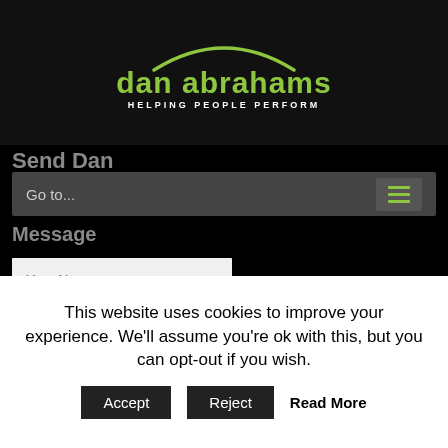[Figure (logo): Dan Abrahams logo with green arch, green bold name 'dan abrahams' and white tagline 'HELPING PEOPLE PERFORM']
Send Dan
Go to...
Message
receive Dan's free soccer psychology e-book
Your Name
Your Email
Your Telepho
Your
Enter
This website uses cookies to improve your experience. We'll assume you're ok with this, but you can opt-out if you wish.
Accept
Reject
Read More